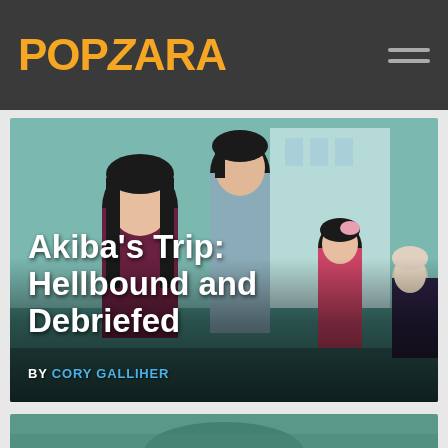POPZARA
[Figure (illustration): Anime-style key art showing three characters: a tall dark-haired male character in center, a girl with long black hair on the left in school uniform, and a smaller girl with dark hair on the right, with a fourth pale-haired character at far right. Teal/aqua background.]
Akiba's Trip: Hellbound and Debriefed
BY CORY GALLIHER
[Figure (illustration): Partial second image visible at the bottom of the page, teal-green background with anime art.]